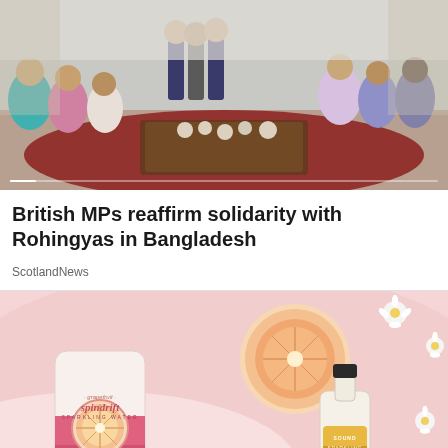[Figure (photo): Group of people seated in a formal meeting room setting, some in colorful traditional attire, gathered around a coffee table on a red patterned rug]
British MPs reaffirm solidarity with Rohingyas in Bangladesh
ScotlandNews
[Figure (photo): Advertisement image showing Spindrift sparkling water grapefruit can and a Sound Sparkling Chamomile bottle, with a halved grapefruit and daisy flowers on a pink background]